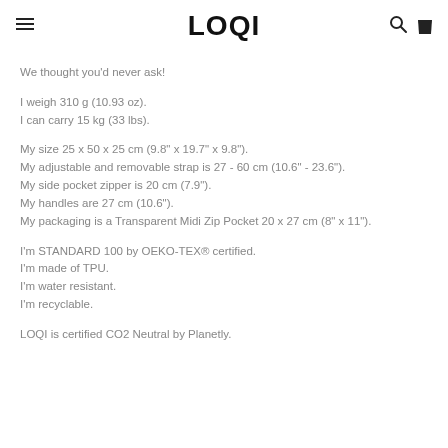LOQI
We thought you'd never ask!
I weigh 310 g (10.93 oz).
I can carry 15 kg (33 lbs).
My size 25 x 50 x 25 cm (9.8" x 19.7" x 9.8").
My adjustable and removable strap is 27 - 60 cm (10.6" - 23.6").
My side pocket zipper is 20 cm (7.9").
My handles are 27 cm (10.6").
My packaging is a Transparent Midi Zip Pocket 20 x 27 cm (8" x 11").
I'm STANDARD 100 by OEKO-TEX® certified.
I'm made of TPU.
I'm water resistant.
I'm recyclable.
LOQI is certified CO2 Neutral by Planetly.